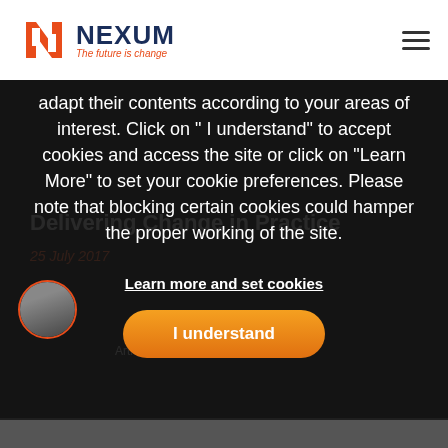[Figure (logo): Nexum logo with stylized N icon in red/orange and navy text 'NEXUM' with tagline 'The future is change' in orange italic]
adapt their contents according to your areas of interest. Click on “ I understand” to accept cookies and access the site or click on “Learn More” to set your cookie preferences. Please note that blocking certain cookies could hamper the proper working of the site.
Learn more and set cookies
I understand
[Figure (screenshot): Dark background with partially visible article: 'Delivering Change in Practice', date '25 July 2017', author photo and 'Article written by Vincent Halluet']